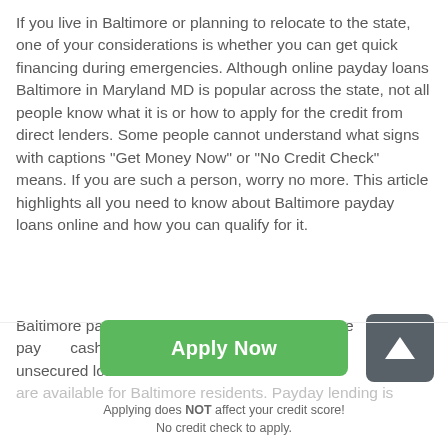If you live in Baltimore or planning to relocate to the state, one of your considerations is whether you can get quick financing during emergencies. Although online payday loans Baltimore in Maryland MD is popular across the state, not all people know what it is or how to apply for the credit from direct lenders. Some people cannot understand what signs with captions "Get Money Now" or "No Credit Check" means. If you are such a person, worry no more. This article highlights all you need to know about Baltimore payday loans online and how you can qualify for it.
Baltimore payday loans, also known as Baltimore payday cash advances, are small short-term unsecured loans that are available for Baltimore residents. Payday lending is
[Figure (other): Scroll-to-top button: dark grey rounded square with white upward arrow icon]
[Figure (other): Green Apply Now button]
Applying does NOT affect your credit score!
No credit check to apply.